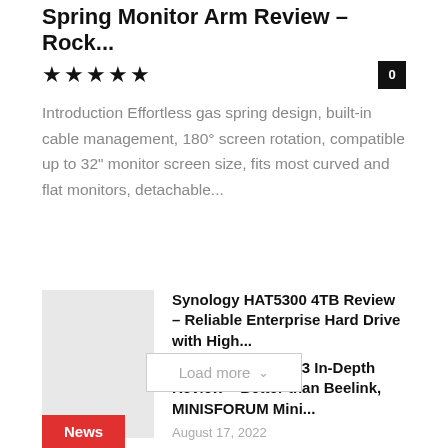Spring Monitor Arm Review – Rock...
★★★★★ 0
Introduction Effortless gas spring design, built-in cable management, 180° screen rotation, compatible up to 32" monitor screen size, fits most curved and flat monitors, detachable...
Synology HAT5300 4TB Review – Reliable Enterprise Hard Drive with High...
★★★★½
TRIGKEY Speed S3 In-Depth Review – Better than Beelink, MINISFORUM Mini...
August 17, 2022
Load more
News